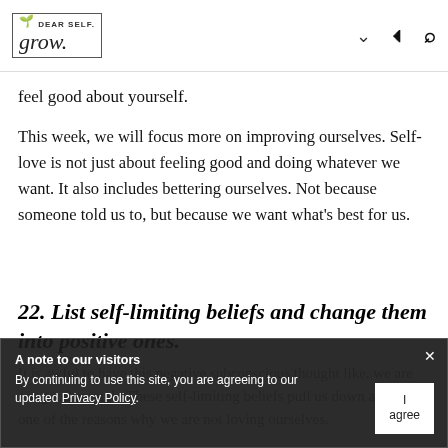Dear Self. Grow.
feel good about yourself.
This week, we will focus more on improving ourselves. Self-love is not just about feeling good and doing whatever we want. It also includes bettering ourselves. Not because someone told us to, but because we want what's best for us.
22. List self-limiting beliefs and change them into positive ones.
It is awful to have this negative subconscious thought like, we are not good enough. These self-limiting beliefs pull us down and are one of the reasons why we are not loving ourselves.
A note to our visitors
By continuing to use this site, you are agreeing to our updated Privacy Policy.